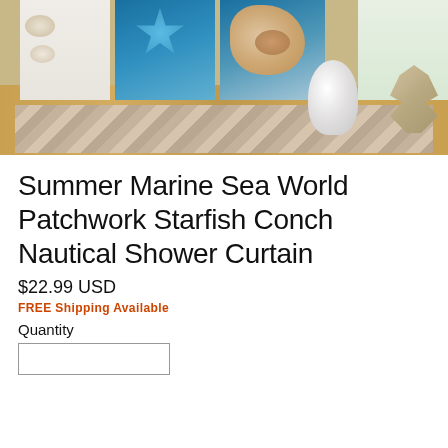[Figure (photo): Product photo showing a nautical/beach themed bathroom scene with shower curtain panels featuring starfish and conch shells, a decorative rug on a wooden floor, white vase, and silver decorative object]
Summer Marine Sea World Patchwork Starfish Conch Nautical Shower Curtain
$22.99 USD
FREE Shipping Available
Quantity